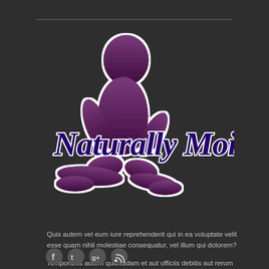[Figure (logo): Naturally Moi logo featuring a purple silhouette of a person with an afro hairstyle sitting, overlaid with cursive script text 'Naturally Moi' in dark purple with white outline]
Quis autem vel eum iure reprehenderit qui in ea voluptate velit esse quam nihil molestiae consequatur, vel illum qui dolorem?
Temporibus autem quibusdam et aut officiis debitis aut rerum necessitatibus saepe eveniet.
[Figure (infographic): Row of social media icons: Facebook, Twitter, Google+, RSS feed]